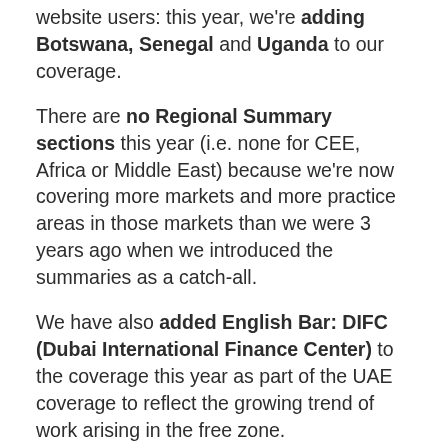website users: this year, we're adding Botswana, Senegal and Uganda to our coverage.
There are no Regional Summary sections this year (i.e. none for CEE, Africa or Middle East) because we're now covering more markets and more practice areas in those markets than we were 3 years ago when we introduced the summaries as a catch-all.
We have also added English Bar: DIFC (Dubai International Finance Center) to the coverage this year as part of the UAE coverage to reflect the growing trend of work arising in the free zone.
The expansion of the word count has also enabled us to add practice areas to cover gaps